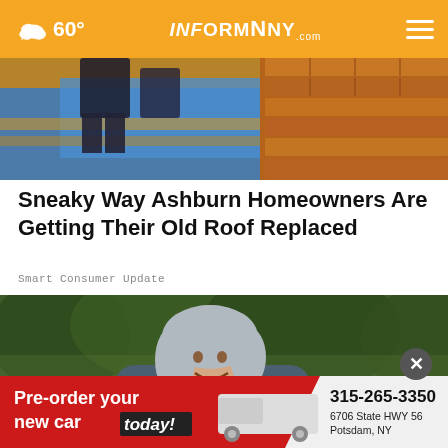60° INFORMNNY.com
[Figure (photo): Workers installing shingles on a roof, with blue tarp and orange/brown shingles visible]
Sneaky Way Ashburn Homeowners Are Getting Their Old Roof Replaced
Smart Consumer Update
[Figure (photo): Smiling older woman with silver/gray hair wearing a gray zip-up jacket outdoors with green trees in background]
[Figure (infographic): Advertisement banner: Pre-order your new car today! 315-265-3350, 6706 State HWY 56, Potsdam, NY. Red background with white truck image.]